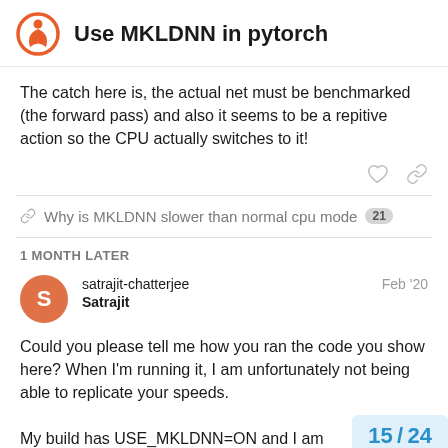Use MKLDNN in pytorch
The catch here is, the actual net must be benchmarked (the forward pass) and also it seems to be a repitive action so the CPU actually switches to it!
Why is MKLDNN slower than normal cpu mode 21
1 MONTH LATER
satrajit-chatterjee Satrajit Feb '20
Could you please tell me how you ran the code you show here? When I'm running it, I am unfortunately not being able to replicate your speeds.

My build has USE_MKLDNN=ON and I am